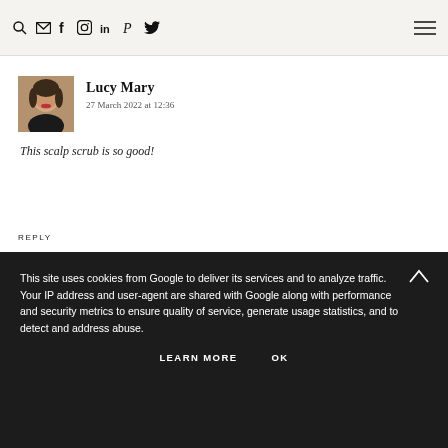Search Email Facebook Instagram LinkedIn Pinterest Twitter Menu
[Figure (photo): Avatar photo of Lucy Mary, a woman with dark hair and red lipstick]
Lucy Mary
27 March 2022 at 12:36
This scalp scrub is so good!
REPLY
This site uses cookies from Google to deliver its services and to analyze traffic. Your IP address and user-agent are shared with Google along with performance and security metrics to ensure quality of service, generate usage statistics, and to detect and address abuse.
LEARN MORE  OK